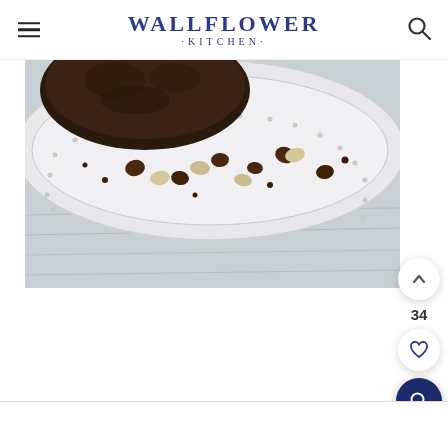WALLFLOWER KITCHEN
[Figure (photo): Close-up photo of a chocolate brownie or cake on a white decorative plate with chocolate chips and white chocolate chips scattered around it, on a whitewashed wooden surface.]
34